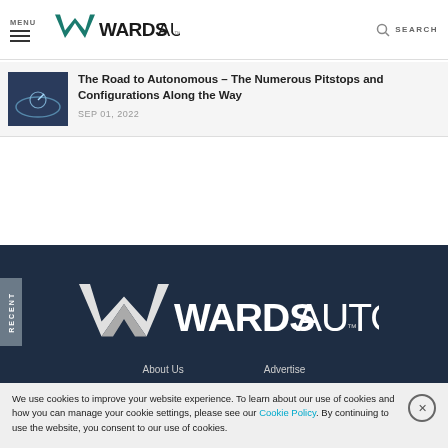MENU | WardsAuto | SEARCH
The Road to Autonomous – The Numerous Pitstops and Configurations Along the Way
SEP 01, 2022
[Figure (logo): WardsAuto logo in white on dark navy background footer]
About Us    Advertise
We use cookies to improve your website experience. To learn about our use of cookies and how you can manage your cookie settings, please see our Cookie Policy. By continuing to use the website, you consent to our use of cookies.